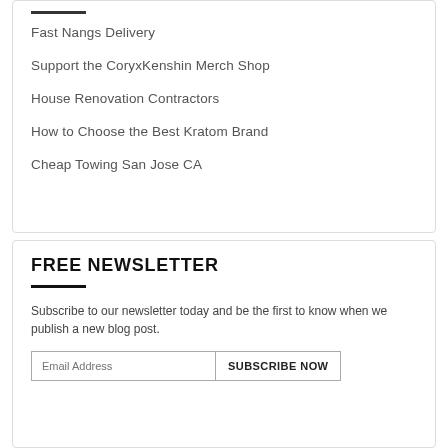Fast Nangs Delivery
Support the CoryxKenshin Merch Shop
House Renovation Contractors
How to Choose the Best Kratom Brand
Cheap Towing San Jose CA
FREE NEWSLETTER
Subscribe to our newsletter today and be the first to know when we publish a new blog post.